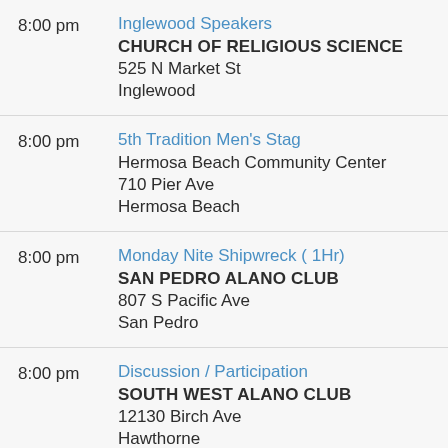8:00 pm | Inglewood Speakers | CHURCH OF RELIGIOUS SCIENCE | 525 N Market St | Inglewood
8:00 pm | 5th Tradition Men's Stag | Hermosa Beach Community Center | 710 Pier Ave | Hermosa Beach
8:00 pm | Monday Nite Shipwreck ( 1Hr) | SAN PEDRO ALANO CLUB | 807 S Pacific Ave | San Pedro
8:00 pm | Discussion / Participation | SOUTH WEST ALANO CLUB | 12130 Birch Ave | Hawthorne